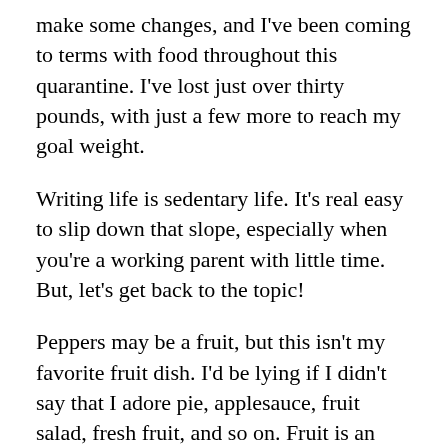make some changes, and I've been coming to terms with food throughout this quarantine. I've lost just over thirty pounds, with just a few more to reach my goal weight.
Writing life is sedentary life. It's real easy to slip down that slope, especially when you're a working parent with little time. But, let's get back to the topic!
Peppers may be a fruit, but this isn't my favorite fruit dish. I'd be lying if I didn't say that I adore pie, applesauce, fruit salad, fresh fruit, and so on. Fruit is an absolute pleasure. Those typical recipes aside, there is a dish that came to mind right away: my